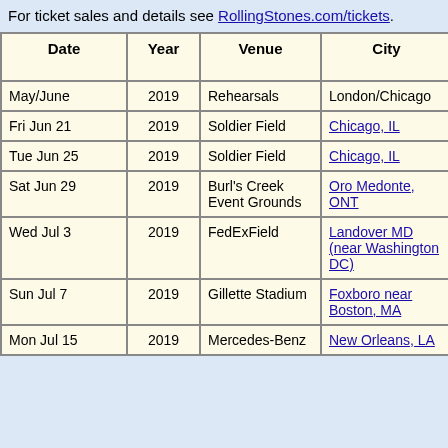For ticket sales and details see RollingStones.com/tickets.
| Date | Year | Venue | City | Country | Cr...s |
| --- | --- | --- | --- | --- | --- |
| May/June | 2019 | Rehearsals | London/Chicago | UK/USA |  |
| Fri Jun 21 | 2019 | Soldier Field | Chicago, IL | USA | 49 |
| Tue Jun 25 | 2019 | Soldier Field | Chicago, IL | USA | 49 |
| Sat Jun 29 | 2019 | Burl's Creek Event Grounds | Oro Medonte, ONT | Canada | 70 |
| Wed Jul 3 | 2019 | FedExField | Landover MD (near Washington DC) | USA | 39 |
| Sun Jul 7 | 2019 | Gillette Stadium | Foxboro near Boston, MA | USA | 49 |
| Mon Jul 15 | 2019 | Mercedes-Benz | New Orleans, LA | USA | 35 |